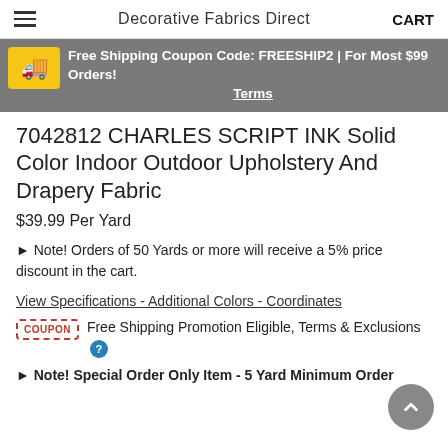Decorative Fabrics Direct  CART
Free Shipping Coupon Code: FREESHIP2 | For Most $99 Orders! Terms
7042812 CHARLES SCRIPT INK Solid Color Indoor Outdoor Upholstery And Drapery Fabric
$39.99 Per Yard
Note! Orders of 50 Yards or more will receive a 5% price discount in the cart.
View Specifications - Additional Colors - Coordinates
Free Shipping Promotion Eligible, Terms & Exclusions
Note! Special Order Only Item - 5 Yard Minimum Order